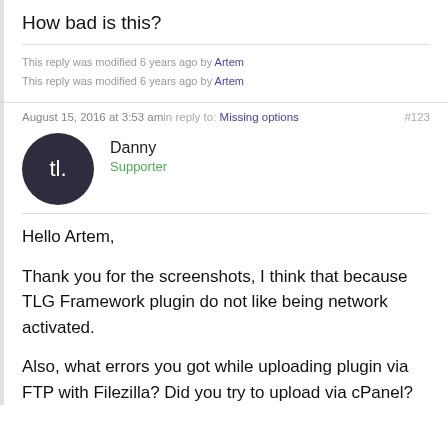How bad is this?
This reply was modified 6 years ago by Artem
This reply was modified 6 years ago by Artem
August 15, 2016 at 3:53 amin reply to: Missing options #123
Danny
Supporter
Hello Artem,

Thank you for the screenshots, I think that because TLG Framework plugin do not like being network activated.

Also, what errors you got while uploading plugin via FTP with Filezilla? Did you try to upload via cPanel?